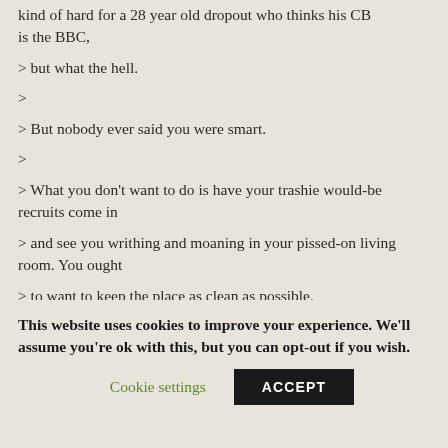kind of hard for a 28 year old dropout who thinks his CB is the BBC,
> but what the hell.
>
> But nobody ever said you were smart.
>
> What you don't want to do is have your trashie would-be recruits come in
> and see you writhing and moaning in your pissed-on living room. You ought
> to want to keep the place as clean as possible.
>
> So, what do you do? When I piss in your living room, you proudly stand
This website uses cookies to improve your experience. We'll assume you're ok with this, but you can opt-out if you wish.